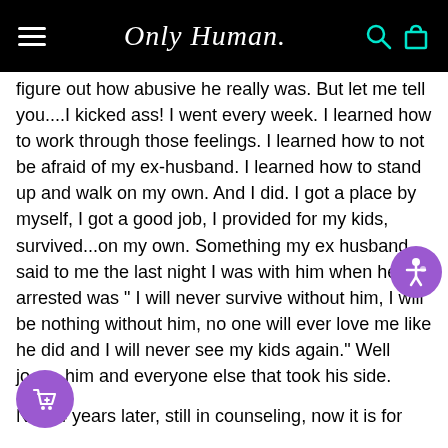Only Human
figure out how abusive he really was. But let me tell you....I kicked ass! I went every week. I learned how to work through those feelings. I learned how to not be afraid of my ex-husband. I learned how to stand up and walk on my own. And I did. I got a place by myself, I got a good job, I provided for my kids, survived...on my own. Something my ex husband said to me the last night I was with him when he got arrested was " I will never survive without him, I will be nothing without him, no one will ever love me like he did and I will never see my kids again." Well jo him and everyone else that took his side.
Now 4 years later, still in counseling, now it is for